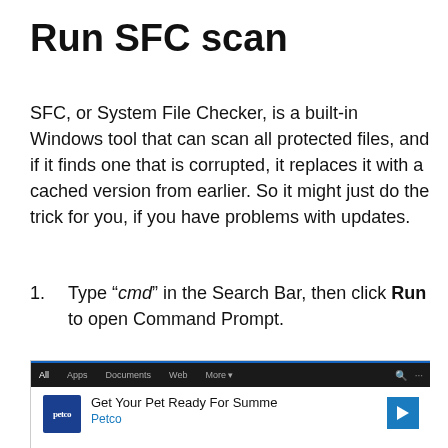Run SFC scan
SFC, or System File Checker, is a built-in Windows tool that can scan all protected files, and if it finds one that is corrupted, it replaces it with a cached version from earlier. So it might just do the trick for you, if you have problems with updates.
1. Type “cmd” in the Search Bar, then click Run to open Command Prompt.
[Figure (screenshot): Windows Search Bar screenshot showing tabs: All, Apps, Documents, Web, More. Below is an advertisement: Petco logo with text 'Get Your Pet Ready For Summe' and 'Petco' in blue, with a blue navigation arrow on the right. Bottom left shows play and close icons.]